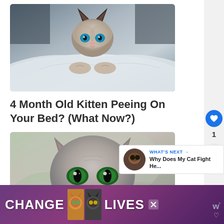[Figure (photo): A young Siamese kitten peering over white bedding/sheets, with striking blue eyes and dark ears, photographed in blue-grey tones]
4 Month Old Kitten Peeing On Your Bed? (What Now?)
[Figure (photo): Close-up portrait of a grey/blue hairless or short-haired cat with intense green eyes, facing the camera directly]
[Figure (photo): Advertisement banner: CHANGE LIVES with cat photos, purple/magenta gradient background]
WHAT'S NEXT → Why Does My Cat Fight He...